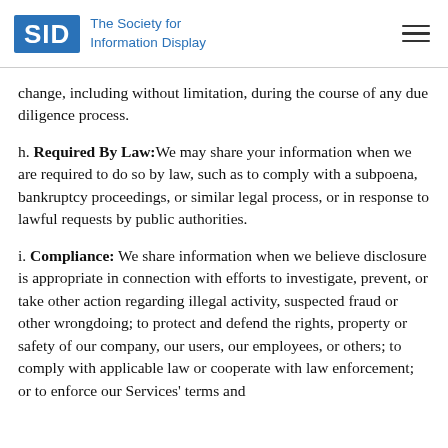The Society for Information Display
change, including without limitation, during the course of any due diligence process.
h. Required By Law: We may share your information when we are required to do so by law, such as to comply with a subpoena, bankruptcy proceedings, or similar legal process, or in response to lawful requests by public authorities.
i. Compliance: We share information when we believe disclosure is appropriate in connection with efforts to investigate, prevent, or take other action regarding illegal activity, suspected fraud or other wrongdoing; to protect and defend the rights, property or safety of our company, our users, our employees, or others; to comply with applicable law or cooperate with law enforcement; or to enforce our Services' terms and